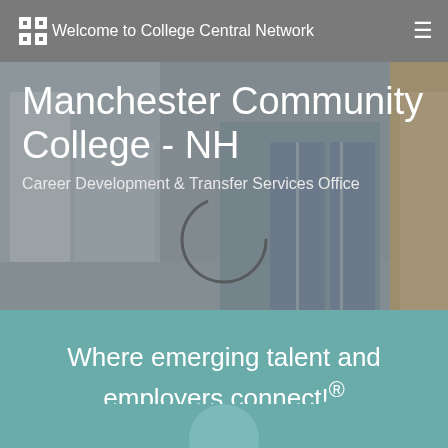Welcome to College Central Network
Manchester Community College - NH
Career Development & Transfer Services Office
[Figure (photo): Background photo of college building exterior with glass facade, overlaid with semi-transparent gray. Contains a loading spinner circle in the center.]
Where emerging talent and employers connect!®